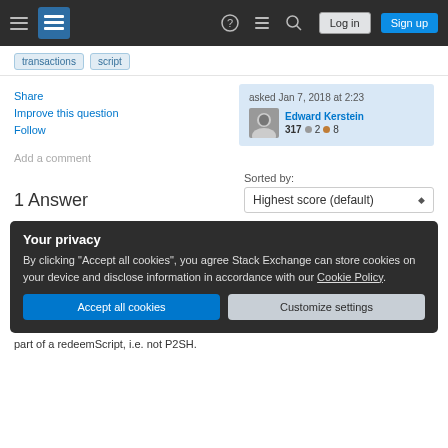Stack Exchange navigation bar with Log in and Sign up buttons
transactions
script
Share
Improve this question
Follow
asked Jan 7, 2018 at 2:23 — Edward Kerstein — 317 ●2 ●8
Add a comment
1 Answer
Sorted by: Highest score (default)
Your privacy — By clicking "Accept all cookies", you agree Stack Exchange can store cookies on your device and disclose information in accordance with our Cookie Policy.
part of a redeemScript, i.e. not P2SH.